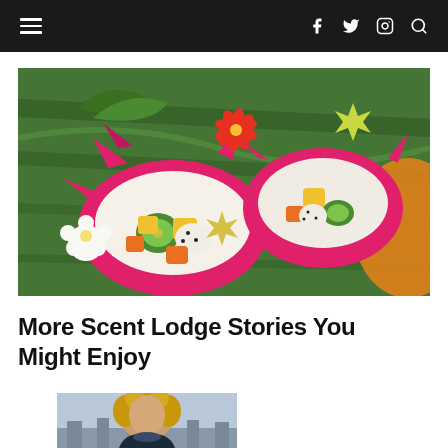Navigation bar with hamburger menu and social icons (f, twitter, instagram, search)
[Figure (photo): Colorful tropical fruit salad served inside dragon fruit shells on a banana leaf, with flowers as garnish]
More Scent Lodge Stories You Might Enjoy
[Figure (photo): Portrait photo of a woman with curly blonde hair outdoors with architecture in background]